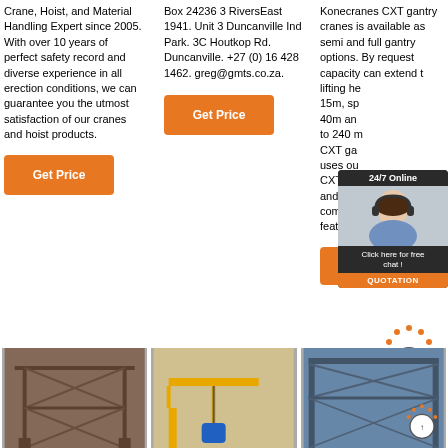Crane, Hoist, and Material Handling Expert since 2005. With over 10 years of perfect safety record and diverse experience in all erection conditions, we can guarantee you the utmost satisfaction of our cranes and hoist products.
Get Price
Box 24236 3 RiversEast 1941. Unit 3 Duncanville Ind Park. 3C Houtkop Rd. Duncanville. +27 (0) 16 428 1462. greg@gmts.co.za.
Get Price
Konecranes CXT gantry cranes is available as semi and full gantry options. By request capacity can extend t... lifting he... 15m, sp... 40m an... to 240 m... CXT ga... uses ou... CXT wi... and incl... compre... features and options.
24/7 Online
Click here for free chat !
QUOTATION
Get Price
[Figure (photo): Old rusted gantry crane structure]
[Figure (photo): Yellow semi-gantry crane with blue hoist]
[Figure (photo): Large industrial gantry crane against blue sky with TOP arrow overlay]